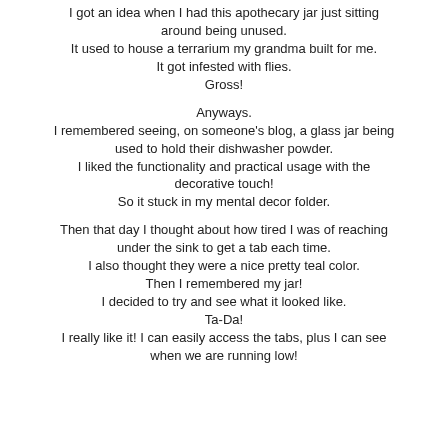I got an idea when I had this apothecary jar just sitting around being unused.
It used to house a terrarium my grandma built for me.
It got infested with flies.
Gross!

Anyways.
I remembered seeing, on someone's blog, a glass jar being used to hold their dishwasher powder.
I liked the functionality and practical usage with the decorative touch!
So it stuck in my mental decor folder.

Then that day I thought about how tired I was of reaching under the sink to get a tab each time.
I also thought they were a nice pretty teal color.
Then I remembered my jar!
I decided to try and see what it looked like.
Ta-Da!
I really like it! I can easily access the tabs, plus I can see when we are running low!